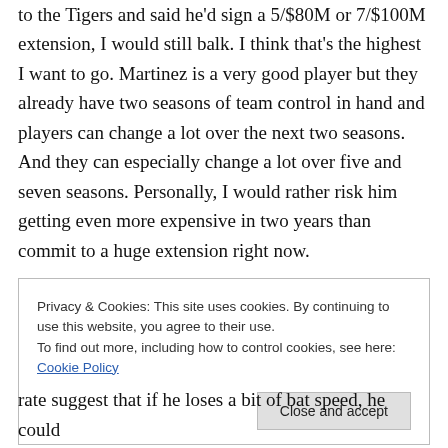to the Tigers and said he'd sign a 5/$80M or 7/$100M extension, I would still balk. I think that's the highest I want to go. Martinez is a very good player but they already have two seasons of team control in hand and players can change a lot over the next two seasons. And they can especially change a lot over five and seven seasons. Personally, I would rather risk him getting even more expensive in two years than commit to a huge extension right now.
Privacy & Cookies: This site uses cookies. By continuing to use this website, you agree to their use.
To find out more, including how to control cookies, see here: Cookie Policy
rate suggest that if he loses a bit of bat speed, he could